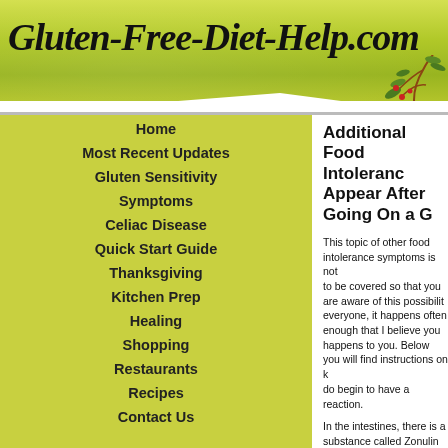Gluten-Free-Diet-Help.com
Home
Most Recent Updates
Gluten Sensitivity
Symptoms
Celiac Disease
Quick Start Guide
Thanksgiving
Kitchen Prep
Healing
Shopping
Restaurants
Recipes
Contact Us
Additional Food Intolerances Can Appear After Going On a G...
This topic of other food intolerance symptoms is not to be covered so that you are aware of this possibility. While it doesn't happen to everyone, it happens often enough that I believe you should know if this ever happens to you. Below you will find instructions on how to handle this if you do begin to have a reaction.
In the intestines, there is a substance called Zonulin which controls the permeability, or the spaces between cells. Gluten causes these spaces to stay open, allowing proteins to get into the bloodstream, where the immune system attacks them. These are IGE Allergy antibodies, rather IGG or IGA antibodies...